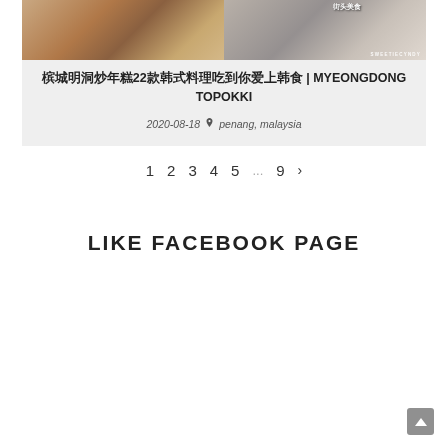[Figure (photo): Food blog article card with two food photos side by side showing Korean food and a restaurant interior, with watermark SWEETIECYNDY]
槟城明洞炒年糕22款韩式料理吃到你爱上韩食 | MYEONGDONG TOPOKKI
2020-08-18  📍 penang, malaysia
1  2  3  4  5  ...  9  ›
LIKE FACEBOOK PAGE